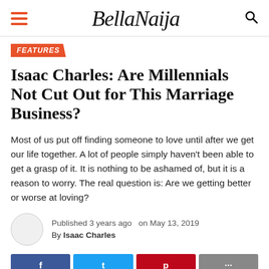BellaNaija
FEATURES
Isaac Charles: Are Millennials Not Cut Out for This Marriage Business?
Most of us put off finding someone to love until after we get our life together. A lot of people simply haven't been able to get a grasp of it. It is nothing to be ashamed of, but it is a reason to worry. The real question is: Are we getting better or worse at loving?
Published 3 years ago  on May 13, 2019
By Isaac Charles